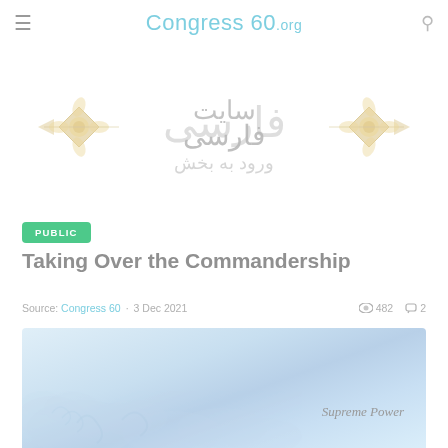Congress60.org
[Figure (illustration): Persian language section banner with decorative Arabic calligraphy text reading 'ورود به بخش فارسی سایت' (Enter the Persian section of the site), with ornate gold and teal floral/geometric border decorations on both sides]
PUBLIC
Taking Over the Commandership
Source: Congress 60 · 3 Dec 2021  👁 482  💬 2
[Figure (illustration): Light blue sky and cloud decorative background image with text 'Supreme Power' in italic on the right side, with ornate swirl/cloud pattern decorations in lighter blue at the bottom]